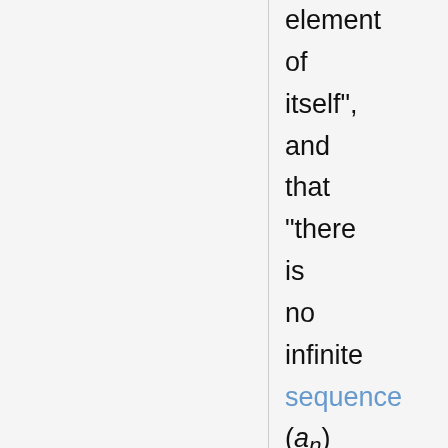element of itself", and that "there is no infinite sequence (a_n) such that a_{i+1} is